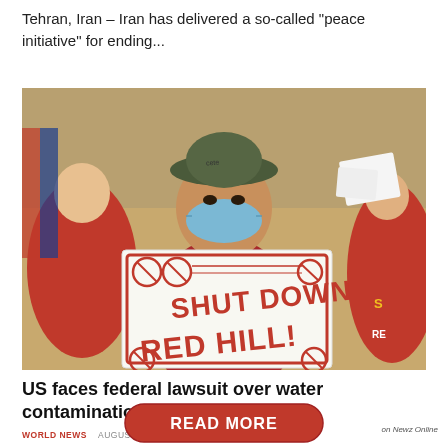Tehran, Iran – Iran has delivered a so-called “peace initiative” for ending...
[Figure (photo): A protestor wearing a blue surgical mask and olive bucket hat holds a sign reading SHUT DOWN RED HILL! in bold red letters with prohibition symbols, at what appears to be an outdoor demonstration. Other protestors in red shirts are visible in the background.]
US faces federal lawsuit over water contamination
WORLD NEWS  AUGUST 31, 2022
[Figure (other): READ MORE button — red pill-shaped button with white bold text READ MORE]
on Newz Online